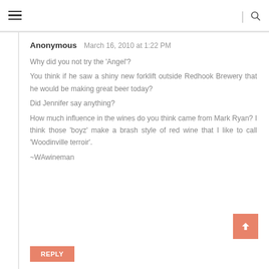≡ | 🔍
Anonymous   March 16, 2010 at 1:22 PM

Why did you not try the 'Angel'?
You think if he saw a shiny new forklift outside Redhook Brewery that he would be making great beer today?
Did Jennifer say anything?
How much influence in the wines do you think came from Mark Ryan? I think those 'boyz' make a brash style of red wine that I like to call 'Woodinville terroir'.
~WAwineman
REPLY